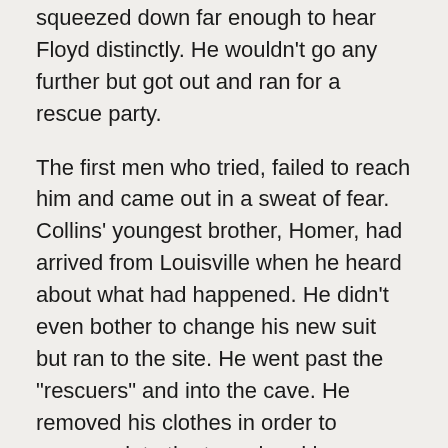squeezed down far enough to hear Floyd distinctly. He wouldn't go any further but got out and ran for a rescue party.
The first men who tried, failed to reach him and came out in a sweat of fear. Collins' youngest brother, Homer, had arrived from Louisville when he heard about what had happened. He didn't even bother to change his new suit but ran to the site. He went past the "rescuers" and into the cave. He removed his clothes in order to squeeze into the tunnel and he reached Floyd.
Others brought Homer coffee and sandwiches to feed Floyd. Then he began to try to remove rock. Hours later Homer came up for a break. He was shivering and his